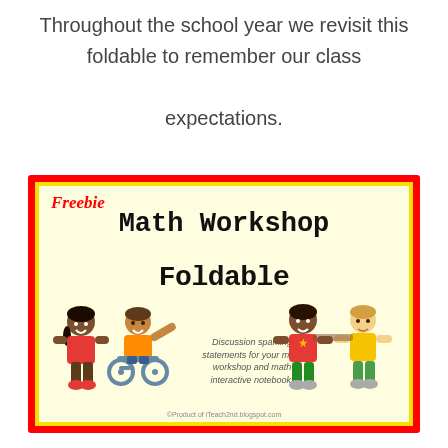Throughout the school year we revisit this foldable to remember our class expectations.
[Figure (illustration): A colorful educational foldable cover titled 'Math Workshop Foldable' with 'Freebie' written in red cursive, cartoon children illustrations on both sides, and text reading 'Discussion sparking statements for your math workshop and math interactive notebook.' with footer '©Product of iTeach2nd.blogspot.com']